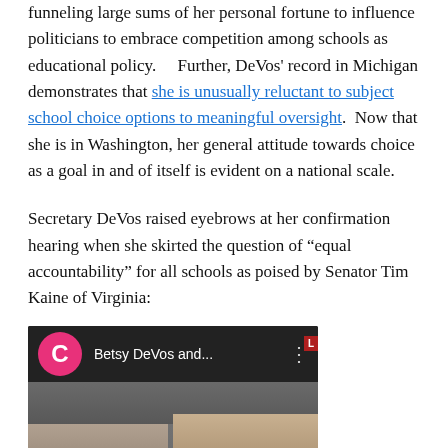funneling large sums of her personal fortune to influence politicians to embrace competition among schools as educational policy.    Further, DeVos' record in Michigan demonstrates that she is unusually reluctant to subject school choice options to meaningful oversight.  Now that she is in Washington, her general attitude towards choice as a goal in and of itself is evident on a national scale.
Secretary DeVos raised eyebrows at her confirmation hearing when she skirted the question of "equal accountability" for all schools as poised by Senator Tim Kaine of Virginia:
[Figure (screenshot): Video thumbnail showing 'Betsy DeVos and...' with a pink circle icon with letter C, three-dot menu, and a still frame of people at what appears to be a hearing.]